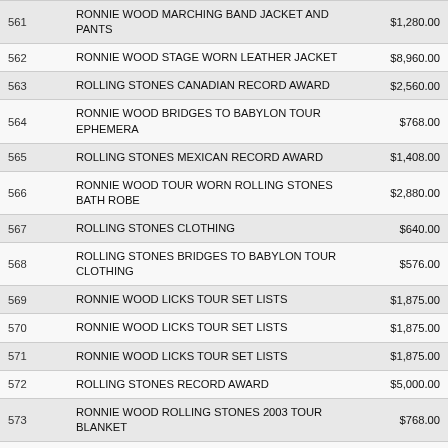| Lot | Description | Price |
| --- | --- | --- |
| 561 | RONNIE WOOD MARCHING BAND JACKET AND PANTS | $1,280.00 |
| 562 | RONNIE WOOD STAGE WORN LEATHER JACKET | $8,960.00 |
| 563 | ROLLING STONES CANADIAN RECORD AWARD | $2,560.00 |
| 564 | RONNIE WOOD BRIDGES TO BABYLON TOUR EPHEMERA | $768.00 |
| 565 | ROLLING STONES MEXICAN RECORD AWARD | $1,408.00 |
| 566 | RONNIE WOOD TOUR WORN ROLLING STONES BATH ROBE | $2,880.00 |
| 567 | ROLLING STONES CLOTHING | $640.00 |
| 568 | ROLLING STONES BRIDGES TO BABYLON TOUR CLOTHING | $576.00 |
| 569 | RONNIE WOOD LICKS TOUR SET LISTS | $1,875.00 |
| 570 | RONNIE WOOD LICKS TOUR SET LISTS | $1,875.00 |
| 571 | RONNIE WOOD LICKS TOUR SET LISTS | $1,875.00 |
| 572 | ROLLING STONES RECORD AWARD | $5,000.00 |
| 573 | RONNIE WOOD ROLLING STONES 2003 TOUR BLANKET | $768.00 |
| 574 | ROLLING STONES LICKS TOUR T-SHIRTS | $128.00 |